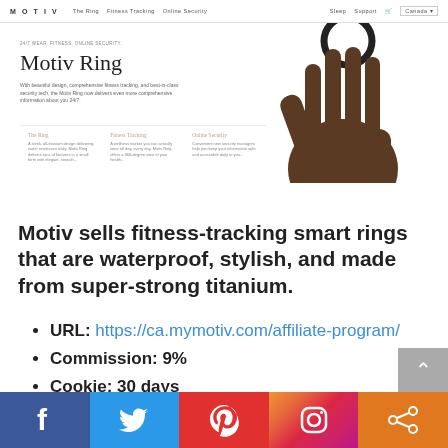[Figure (screenshot): Screenshot of the Motiv Ring product website showing the homepage with navigation bar, hero section with 'Motiv Ring' heading, a hand holding a black ring, and three feature cards: The Ring, Fitness Tracking, Online Security]
Motiv sells fitness-tracking smart rings that are waterproof, stylish, and made from super-strong titanium.
URL: https://ca.mymotiv.com/affiliate-program/
Commission: 9%
Cookie: 30 days